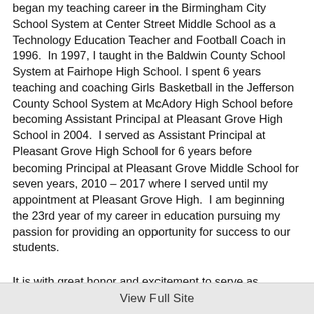began my teaching career in the Birmingham City School System at Center Street Middle School as a Technology Education Teacher and Football Coach in 1996.  In 1997, I taught in the Baldwin County School System at Fairhope High School. I spent 6 years teaching and coaching Girls Basketball in the Jefferson County School System at McAdory High School before becoming Assistant Principal at Pleasant Grove High School in 2004.  I served as Assistant Principal at Pleasant Grove High School for 6 years before becoming Principal at Pleasant Grove Middle School for seven years, 2010 – 2017 where I served until my appointment at Pleasant Grove High.  I am beginning the 23rd year of my career in education pursuing my passion for providing an opportunity for success to our students.
It is with great honor and excitement to serve as principal of Pleasant Grove High School, and I am
View Full Site